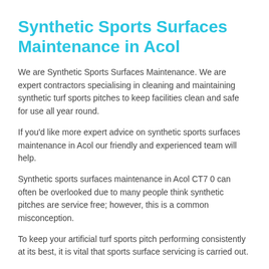Synthetic Sports Surfaces Maintenance in Acol
We are Synthetic Sports Surfaces Maintenance. We are expert contractors specialising in cleaning and maintaining synthetic turf sports pitches to keep facilities clean and safe for use all year round.
If you'd like more expert advice on synthetic sports surfaces maintenance in Acol our friendly and experienced team will help.
Synthetic sports surfaces maintenance in Acol CT7 0 can often be overlooked due to many people think synthetic pitches are service free; however, this is a common misconception.
To keep your artificial turf sports pitch performing consistently at its best, it is vital that sports surface servicing is carried out.
The extent of this cleaning can vary from sports pitch to pitch and surface to surface.